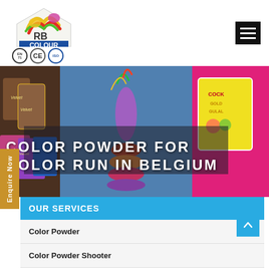[Figure (logo): RB Colour logo with colorful house/paint design, EN71, CE, and ISO certification badges]
[Figure (photo): Banner showing color powder products including Velvet and Cock Gold Gulal brand packages, colorful powder displays, with text overlay 'COLOR POWDER FOR COLOR RUN IN BELGIUM']
Enquire Now
OUR SERVICES
Color Powder
Color Powder Shooter